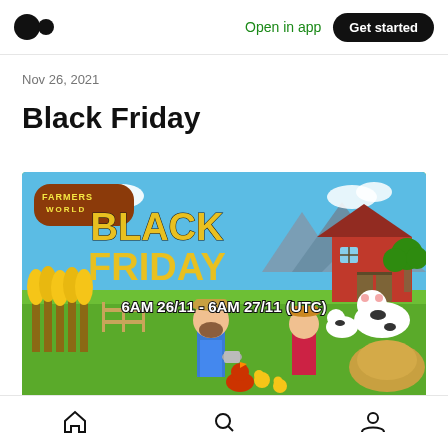Medium logo | Open in app | Get started
Nov 26, 2021
Black Friday
[Figure (illustration): Farmers World Black Friday promotional banner showing cartoon farm scene with two farmer characters, cows, chicks, a rooster, corn crops, a red barn, mountains, and text reading 'FARMERS WORLD BLACK FRIDAY 6AM 26/11 - 6AM 27/11 (UTC)']
Home | Search | Profile